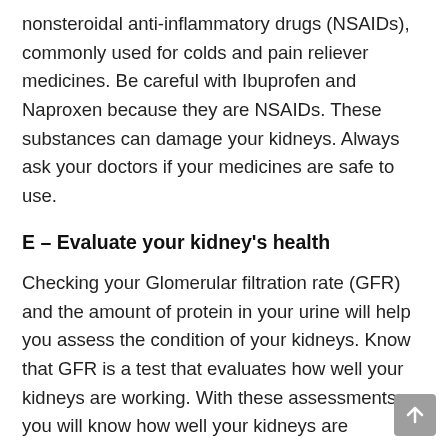nonsteroidal anti-inflammatory drugs (NSAIDs), commonly used for colds and pain reliever medicines. Be careful with Ibuprofen and Naproxen because they are NSAIDs. These substances can damage your kidneys. Always ask your doctors if your medicines are safe to use.
E – Evaluate your kidney's health
Checking your Glomerular filtration rate (GFR) and the amount of protein in your urine will help you assess the condition of your kidneys. Know that GFR is a test that evaluates how well your kidneys are working. With these assessments, you will know how well your kidneys are responding with the modification of your lifestyle and medication. These